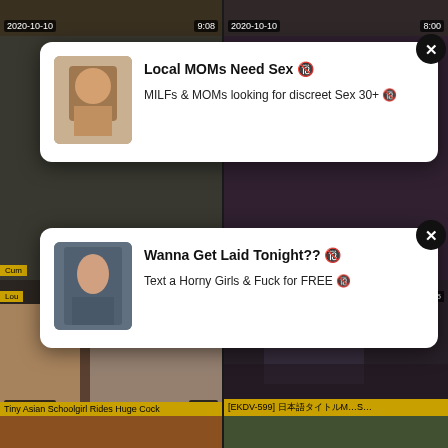[Figure (screenshot): Video thumbnail grid with date 2020-10-10, duration 9:08 (left) and 8:00 (right)]
[Figure (screenshot): Ad popup 1: Local MOMs Need Sex, MILFs & MOMs looking for discreet Sex 30+]
[Figure (screenshot): Ad popup 2: Wanna Get Laid Tonight??, Text a Horny Girls & Fuck for FREE]
[Figure (screenshot): Video thumbnail: Tiny Asian Schoolgirl Rides Huge Cock, 2020-10-10, 12:36]
[Figure (screenshot): Video thumbnail: [EKDV-599] Japanese title, 2020-10-10, 2:19:51]
[Figure (screenshot): Bottom partial thumbnails strip]